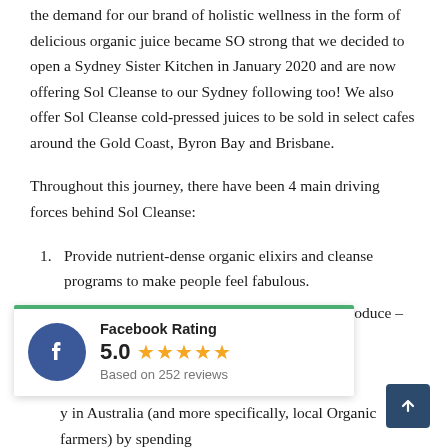the demand for our brand of holistic wellness in the form of delicious organic juice became SO strong that we decided to open a Sydney Sister Kitchen in January 2020 and are now offering Sol Cleanse to our Sydney following too! We also offer Sol Cleanse cold-pressed juices to be sold in select cafes around the Gold Coast, Byron Bay and Brisbane.
Throughout this journey, there have been 4 main driving forces behind Sol Cleanse:
Provide nutrient-dense organic elixirs and cleanse programs to make people feel fabulous.
Connect people to real nutrition and organic produce – ore in tune with their eeds, and hence more in
[Figure (other): Facebook Rating widget showing 5.0 stars based on 252 reviews, with Facebook logo icon and green top border]
y in Australia (and more specifically, local Organic farmers) by spending